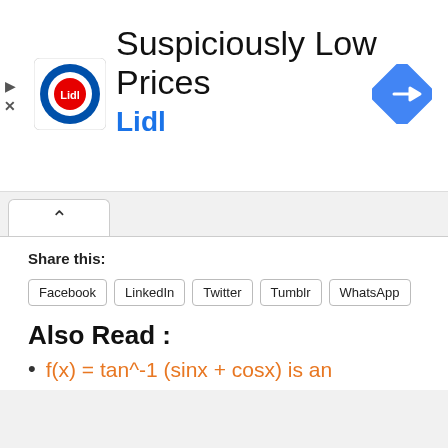[Figure (advertisement): Lidl advertisement banner with logo, title 'Suspiciously Low Prices', subtitle 'Lidl', and a map direction icon]
Share this:
Facebook
LinkedIn
Twitter
Tumblr
WhatsApp
Also Read :
f(x) = tan^-1 (sinx + cosx) is an increasing function in